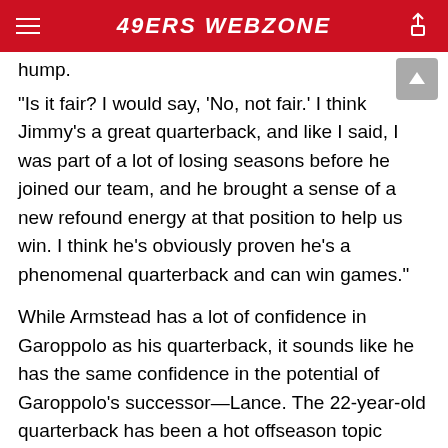49ERS WEBZONE
hump.
"Is it fair? I would say, 'No, not fair.' I think Jimmy's a great quarterback, and like I said, I was part of a lot of losing seasons before he joined our team, and he brought a sense of a new refound energy at that position to help us win. I think he's obviously proven he's a phenomenal quarterback and can win games."
While Armstead has a lot of confidence in Garoppolo as his quarterback, it sounds like he has the same confidence in the potential of Garoppolo's successor—Lance. The 22-year-old quarterback has been a hot offseason topic himself, with speculation surrounding his roadiness to take over head coach Kyle Shanahan's